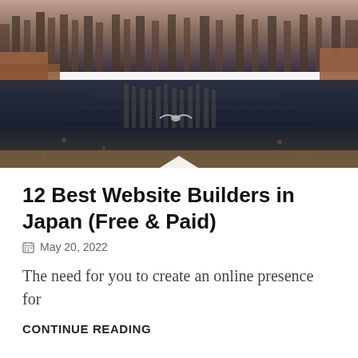[Figure (photo): A scenic photograph of a Japanese location showing a water reflection scene with trees, structures, and a bird in flight over dark reflective water, with autumn-colored foliage visible.]
12 Best Website Builders in Japan (Free & Paid)
May 20, 2022
The need for you to create an online presence for
CONTINUE READING